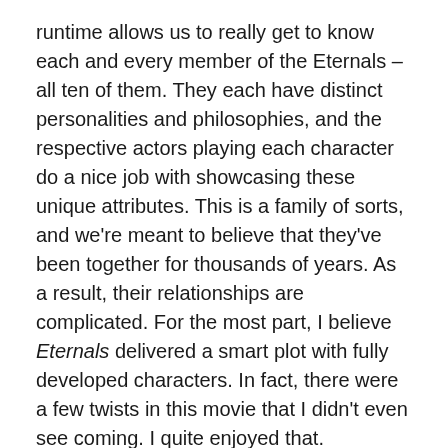runtime allows us to really get to know each and every member of the Eternals – all ten of them. They each have distinct personalities and philosophies, and the respective actors playing each character do a nice job with showcasing these unique attributes. This is a family of sorts, and we're meant to believe that they've been together for thousands of years. As a result, their relationships are complicated. For the most part, I believe Eternals delivered a smart plot with fully developed characters. In fact, there were a few twists in this movie that I didn't even see coming. I quite enjoyed that.
It's important that Marvel begins to recondition their audience with a film like Eternals. I imagine Marvel wants to allow a bit more room for its characters to breathe. It wants to explore the deep, sometimes even trippy, imaginings of luminaries like Jack Kirby. It wants to